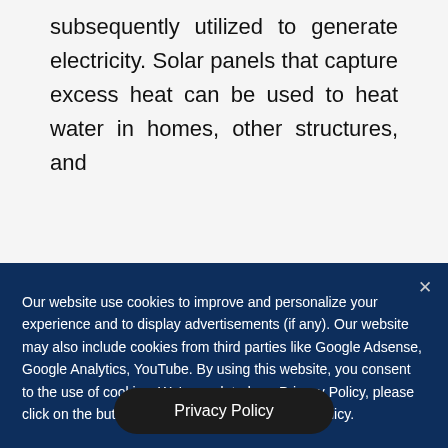subsequently utilized to generate electricity. Solar panels that capture excess heat can be used to heat water in homes, other structures, and
× Our website use cookies to improve and personalize your experience and to display advertisements (if any). Our website may also include cookies from third parties like Google Adsense, Google Analytics, YouTube. By using this website, you consent to the use of cookies. We've updated our Privacy Policy, please click on the button beside to check our Privacy Policy.
Privacy Policy